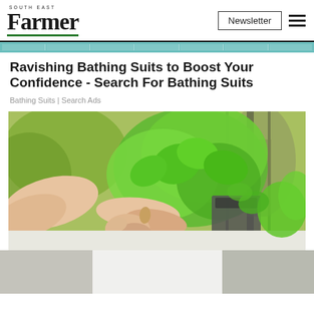South East Farmer | Newsletter
Ravishing Bathing Suits to Boost Your Confidence - Search For Bathing Suits
Bathing Suits | Search Ads
[Figure (photo): Hands picking or handling fresh green basil herbs in a greenhouse or garden setting, with various potted herb plants visible in the background.]